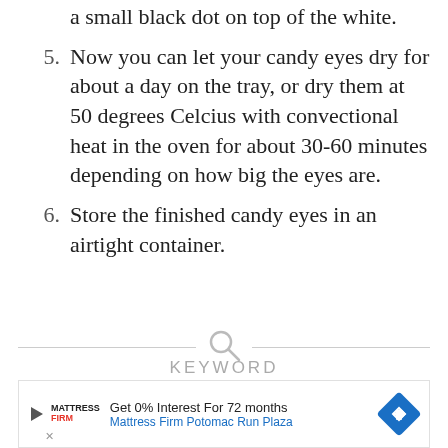5. Now you can let your candy eyes dry for about a day on the tray, or dry them at 50 degrees Celcius with convectional heat in the oven for about 30-60 minutes depending on how big the eyes are.
6. Store the finished candy eyes in an airtight container.
KEYWORD
candied eyes for cupcakes, candy eyeballs, edible eyeballs, Edible eyes for cakes, eye sprinkles, Eyes for Halloween cakes, Homemade cake ornaments, Homemade
[Figure (other): Advertisement banner: Mattress Firm Potomac Run Plaza — Get 0% Interest For 72 months]